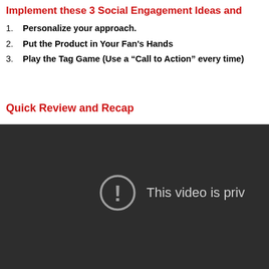Implement these 3 Social Engagement Ideas and
Personalize your approach.
Put the Product in Your Fan's Hands
Play the Tag Game (Use a “Call to Action” every time)
Quick Review and Recap
[Figure (screenshot): Dark video player showing 'This video is priv' error message with an exclamation mark in a circle icon]